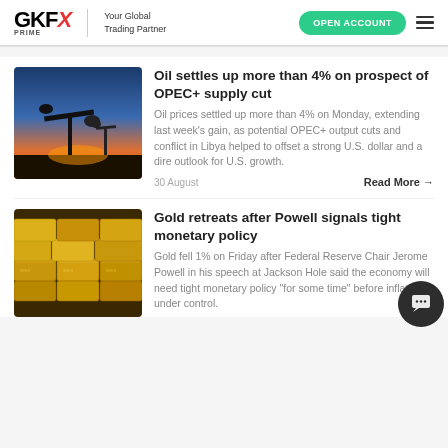GKFX PRIME | Your Global Trading Partner | OPEN ACCOUNT
[Figure (photo): Oil pump jack silhouette at sunset with orange and blue sky background]
Oil settles up more than 4% on prospect of OPEC+ supply cut
Oil prices settled up more than 4% on Monday, extending last week's gain, as potential OPEC+ output cuts and conflict in Libya helped to offset a strong U.S. dollar and a dire outlook for U.S. growth.
30 August
Read More →
[Figure (photo): Stacked gold bars/bullion closeup photo]
Gold retreats after Powell signals tight monetary policy
Gold fell 1% on Friday after Federal Reserve Chair Jerome Powell in his speech at Jackson Hole said the economy will need tight monetary policy "for some time" before inflation is under control.